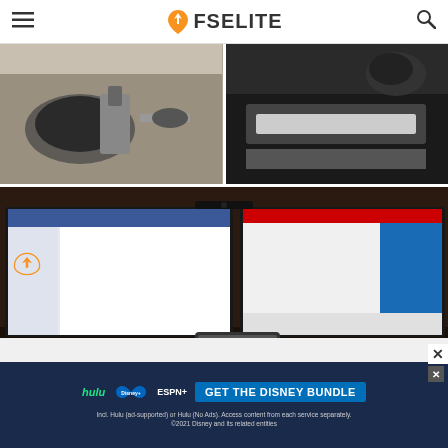FSELITE
[Figure (photo): Flight simulator joystick and peripheral hardware on a desk, left panel]
[Figure (photo): Flight simulator controller hardware on a dark desk, right panel]
[Figure (photo): Wide desktop setup with multiple monitors showing flight simulator software and FSElite website, with tablet in foreground]
[Figure (photo): Partial bottom area with FSElite logo icon]
[Figure (screenshot): Disney Bundle advertisement banner: Hulu, Disney+, ESPN+ logos with 'GET THE DISNEY BUNDLE' call to action and fine print text]